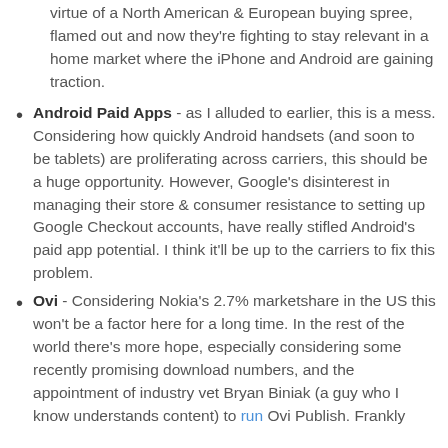virtue of a North American & European buying spree, flamed out and now they're fighting to stay relevant in a home market where the iPhone and Android are gaining traction.
Android Paid Apps - as I alluded to earlier, this is a mess. Considering how quickly Android handsets (and soon to be tablets) are proliferating across carriers, this should be a huge opportunity. However, Google's disinterest in managing their store & consumer resistance to setting up Google Checkout accounts, have really stifled Android's paid app potential. I think it'll be up to the carriers to fix this problem.
Ovi - Considering Nokia's 2.7% marketshare in the US this won't be a factor here for a long time. In the rest of the world there's more hope, especially considering some recently promising download numbers, and the appointment of industry vet Bryan Biniak (a guy who I know understands content) to run Ovi Publish. Frankly